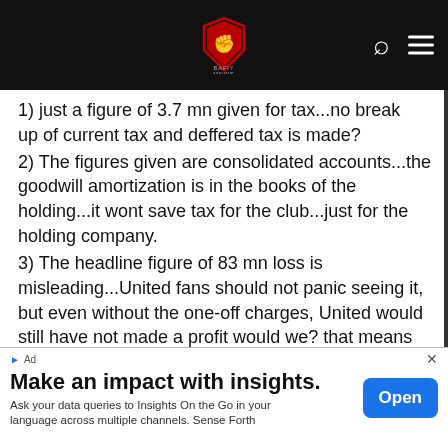Navigation bar with logo, search and menu icons
1) just a figure of 3.7 mn given for tax...no break up of current tax and deffered tax is made?
2) The figures given are consolidated accounts...the goodwill amortization is in the books of the holding...it wont save tax for the club...just for the holding company.
3) The headline figure of 83 mn loss is misleading...United fans should not panic seeing it, but even without the one-off charges, United would still have not made a profit would we? that means that the entire
[Figure (other): Advertisement banner - 'Make an impact with insights. Ask your data queries to Insights On the Go in your language across multiple channels. Sense Forth' with Open button]